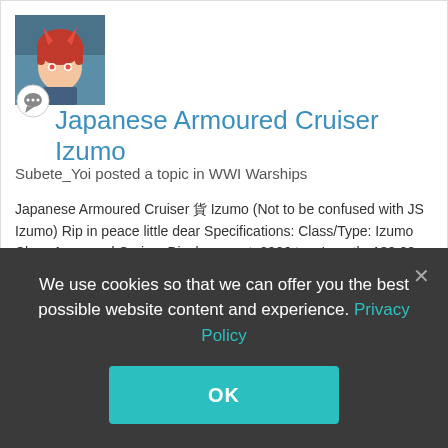[Figure (photo): User avatar: anime character with red hair and dark/blue background]
Japanese Armoured Cruiser Izumo
Subete_Yoi posted a topic in WWI Warships
Japanese Armoured Cruiser 艦 Izumo (Not to be confused with JS Izumo) Rip in peace little dear Specifications: Class/Type: Izumo Class Armoured Cruiser Displacement: 9906 tonsLength: 132.28 meters Breadth: 20.94 meters No of shafts: 2 Engine: 24 VTE Belleville boilers Power: 1450...
April 1, 2015   7 replies   1
We use cookies so that we can offer you the best possible website content and experience. Privacy Policy
OK